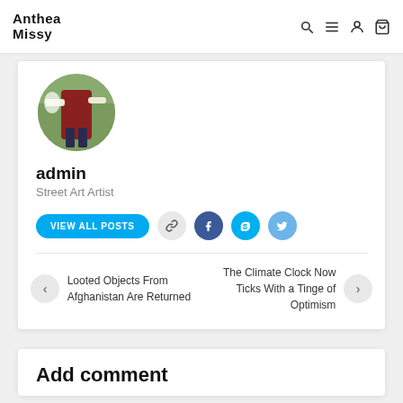Anthea Missy
[Figure (photo): Circular avatar image of a person painting street art]
admin
Street Art Artist
VIEW ALL POSTS [social icons: link, facebook, skype, twitter]
Looted Objects From Afghanistan Are Returned
The Climate Clock Now Ticks With a Tinge of Optimism
Add comment